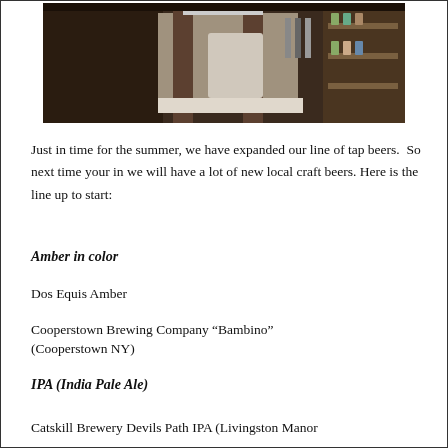[Figure (photo): Interior bar scene showing bar equipment, taps, and shelving with bottles]
Just in time for the summer, we have expanded our line of tap beers.  So next time your in we will have a lot of new local craft beers. Here is the line up to start:
Amber in color
Dos Equis Amber
Cooperstown Brewing Company “Bambino” (Cooperstown NY)
IPA (India Pale Ale)
Catskill Brewery Devils Path IPA (Livingston Manor